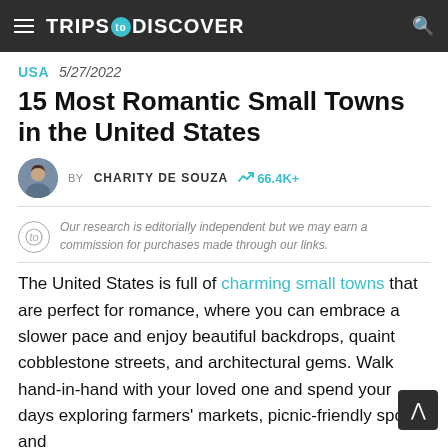TRIPS TO DISCOVER
USA  5/27/2022
15 Most Romantic Small Towns in the United States
BY CHARITY DE SOUZA  66.4K+
Our research is editorially independent but we may earn a commission for purchases made through our links.
The United States is full of charming small towns that are perfect for romance, where you can embrace a slower pace and enjoy beautiful backdrops, quaint cobblestone streets, and architectural gems. Walk hand-in-hand with your loved one and spend your days exploring farmers' markets, picnic-friendly spots, and